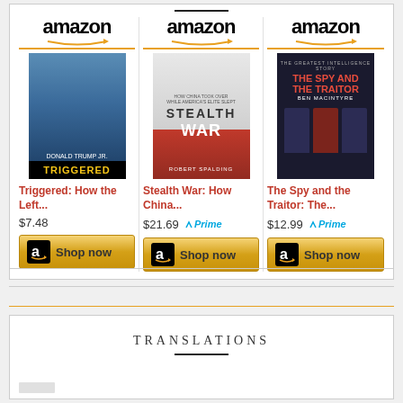[Figure (infographic): Amazon product advertisement showing three books: 'Triggered: How the Left...' at $7.48, 'Stealth War: How China...' at $21.69 with Prime, and 'The Spy and the Traitor: The...' at $12.99 with Prime. Each has an Amazon logo, book cover image, title in red, price, optional Prime badge, and a gold 'Shop now' button.]
TRANSLATIONS